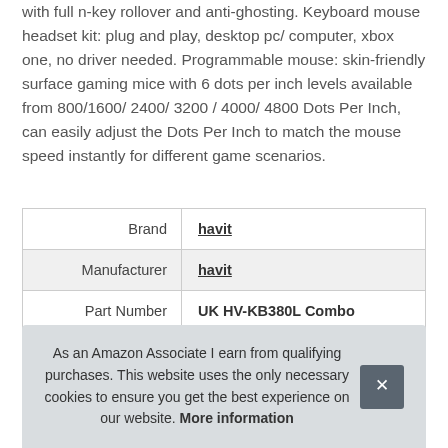with full n-key rollover and anti-ghosting. Keyboard mouse headset kit: plug and play, desktop pc/ computer, xbox one, no driver needed. Programmable mouse: skin-friendly surface gaming mice with 6 dots per inch levels available from 800/1600/ 2400/ 3200 / 4000/ 4800 Dots Per Inch, can easily adjust the Dots Per Inch to match the mouse speed instantly for different game scenarios.
| Brand | havit |
| Manufacturer | havit |
| Part Number | UK HV-KB380L Combo |
As an Amazon Associate I earn from qualifying purchases. This website uses the only necessary cookies to ensure you get the best experience on our website. More information